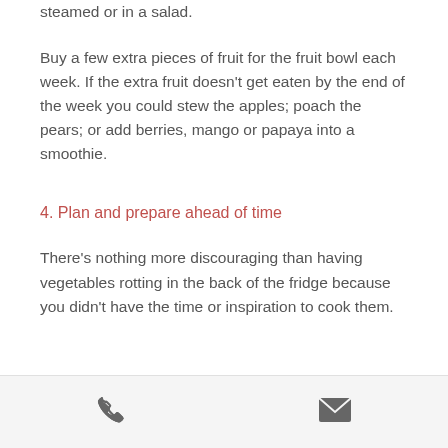steamed or in a salad.
Buy a few extra pieces of fruit for the fruit bowl each week. If the extra fruit doesn't get eaten by the end of the week you could stew the apples; poach the pears; or add berries, mango or papaya into a smoothie.
4. Plan and prepare ahead of time
There's nothing more discouraging than having vegetables rotting in the back of the fridge because you didn't have the time or inspiration to cook them.
phone and email icons